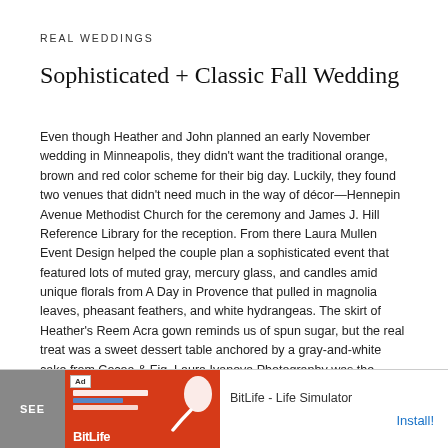REAL WEDDINGS
Sophisticated + Classic Fall Wedding
Even though Heather and John planned an early November wedding in Minneapolis, they didn't want the traditional orange, brown and red color scheme for their big day. Luckily, they found two venues that didn't need much in the way of décor—Hennepin Avenue Methodist Church for the ceremony and James J. Hill Reference Library for the reception. From there Laura Mullen Event Design helped the couple plan a sophisticated event that featured lots of muted gray, mercury glass, and candles amid unique florals from A Day in Provence that pulled in magnolia leaves, pheasant feathers, and white hydrangeas. The skirt of Heather's Reem Acra gown reminds us of spun sugar, but the real treat was a sweet dessert table anchored by a gray-and-white cake from Cocoa & Fig. Laura Ivanova Photography was the perfect choice, too—these images are breathtaking!
[Figure (screenshot): Advertisement banner for BitLife - Life Simulator app with red background, sperm icon, and Install button]